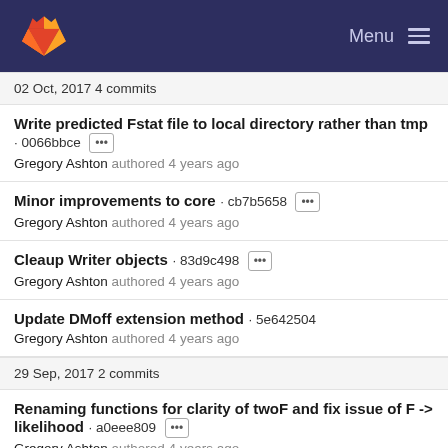Menu
02 Oct, 2017 4 commits
Write predicted Fstat file to local directory rather than tmp · 0066bbce
Gregory Ashton authored 4 years ago
Minor improvements to core · cb7b5658
Gregory Ashton authored 4 years ago
Cleaup Writer objects · 83d9c498
Gregory Ashton authored 4 years ago
Update DMoff extension method · 5e642504
Gregory Ashton authored 4 years ago
29 Sep, 2017 2 commits
Renaming functions for clarity of twoF and fix issue of F -> likelihood · a0eee809
Gregory Ashton authored 4 years ago